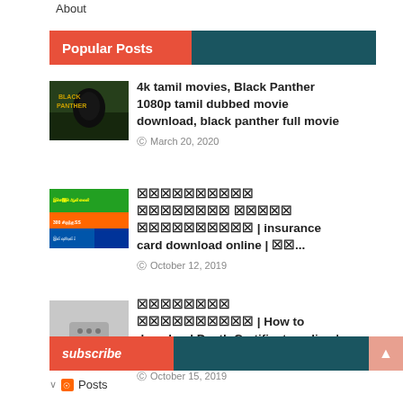About
Popular Posts
[Figure (photo): Black Panther movie poster thumbnail]
4k tamil movies, Black Panther 1080p tamil dubbed movie download, black panther full movie
March 20, 2020
[Figure (photo): Insurance card colorful thumbnail]
██████████ ████████ █████ ██████████ | insurance card download online | ██...
October 12, 2019
[Figure (photo): Video placeholder thumbnail with three dots]
████████ ██████████ | How to download Death Certificate online | ████████ ...
October 15, 2019
subscribe
Posts